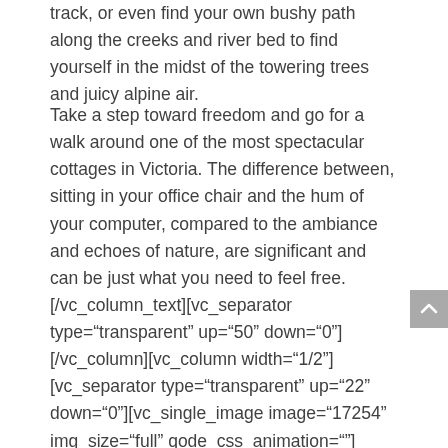track, or even find your own bushy path along the creeks and river bed to find yourself in the midst of the towering trees and juicy alpine air.
Take a step toward freedom and go for a walk around one of the most spectacular cottages in Victoria. The difference between, sitting in your office chair and the hum of your computer, compared to the ambiance and echoes of nature, are significant and can be just what you need to feel free. [/vc_column_text][vc_separator type="transparent" up="50" down="0"][/vc_column][vc_column width="1/2"][vc_separator type="transparent" up="22" down="0"][vc_single_image image="17254" img_size="full" qode_css_animation=""][vc_separator type="transparent" up="97" down="0"][/vc_column][/vc_row][vc_row row_type="row" type="grid" in_content_menu="" text_align="left" background_color="#f8f8f8" padding_top="19"